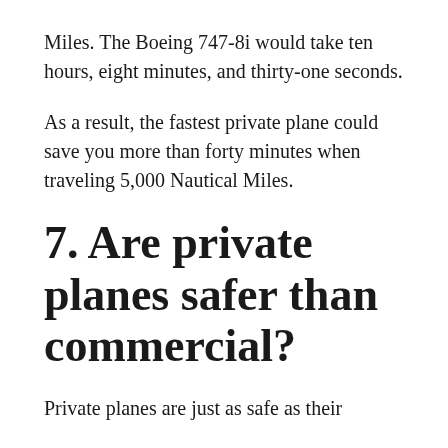Miles. The Boeing 747-8i would take ten hours, eight minutes, and thirty-one seconds.
As a result, the fastest private plane could save you more than forty minutes when traveling 5,000 Nautical Miles.
7. Are private planes safer than commercial?
Private planes are just as safe as their